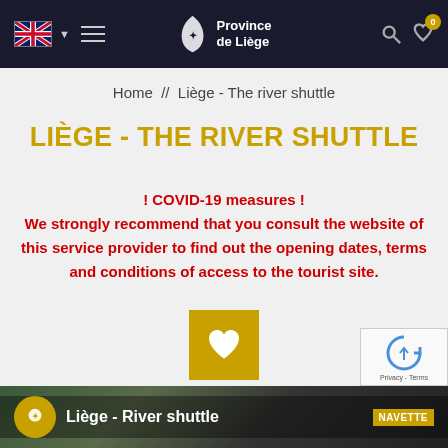Province de Liège – navigation header with UK flag, hamburger menu, logo, search and heart icons
Home  //  Liège - The river shuttle
LIÈGE - THE RIVER SHUTTLE
! COVID-19 measures ! We strongly recommend that you consult the website of this service provider to find out the opening dates, terms and conditions of access to the tourist site.
[Figure (other): Gold square favorite/heart button]
[Figure (other): Gold icon toolbar with camera, list, euro, envelope, location pin, and lightbulb icons]
[Figure (photo): Photo strip showing Liège River shuttle scene with coin logo, title 'Liège - River shuttle' and NAVETTE badge; reCAPTCHA widget overlaid at right]